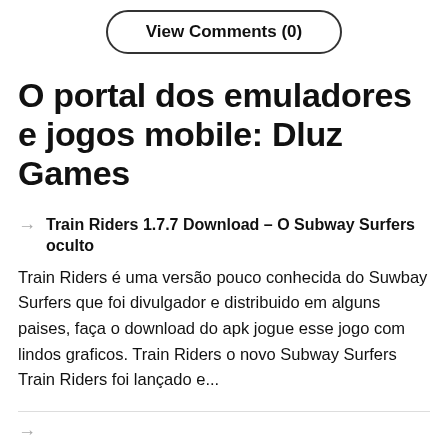View Comments (0)
O portal dos emuladores e jogos mobile: Dluz Games
Train Riders 1.7.7 Download – O Subway Surfers oculto
Train Riders é uma versão pouco conhecida do Suwbay Surfers que foi divulgador e distribuido em alguns paises, faça o download do apk jogue esse jogo com lindos graficos. Train Riders o novo Subway Surfers Train Riders foi lançado e...